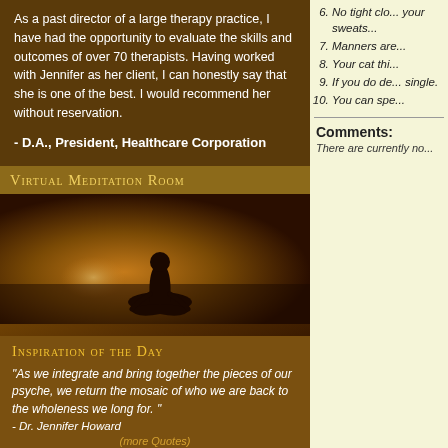As a past director of a large therapy practice, I have had the opportunity to evaluate the skills and outcomes of over 70 therapists. Having worked with Jennifer as her client, I can honestly say that she is one of the best. I would recommend her without reservation.

- D.A., President, Healthcare Corporation
Virtual Meditation Room
Click Here to Enter
[Figure (illustration): Silhouette of a person sitting in meditation pose against a warm golden-brown gradient background]
Inspiration of the Day
"As we integrate and bring together the pieces of our psyche, we return the mosaic of who we are back to the wholeness we long for. " - Dr. Jennifer Howard
(more Quotes)
6. No tight clo... your sweats...
7. Manners are...
8. Your cat thi...
9. If you do de... single.
10. You can spe...
Comments:
There are currently no...